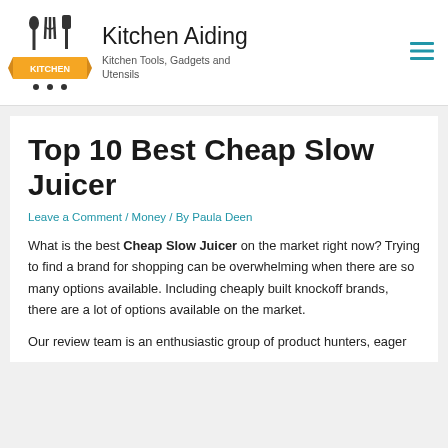[Figure (logo): Kitchen Aiding logo: kitchen utensils (spoon, whisk, spatula) above a yellow ribbon banner with 'KITCHEN' text]
Kitchen Aiding
Kitchen Tools, Gadgets and Utensils
Top 10 Best Cheap Slow Juicer
Leave a Comment / Money / By Paula Deen
What is the best Cheap Slow Juicer on the market right now? Trying to find a brand for shopping can be overwhelming when there are so many options available. Including cheaply built knockoff brands, there are a lot of options available on the market.
Our review team is an enthusiastic group of product hunters, eager